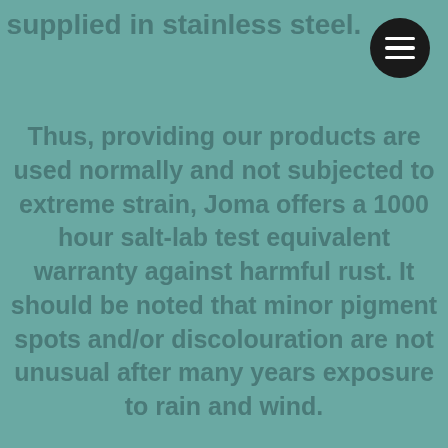supplied in stainless steel.
[Figure (other): Circular dark menu button with three horizontal white lines (hamburger icon) in the top-right corner]
Thus, providing our products are used normally and not subjected to extreme strain, Joma offers a 1000 hour salt-lab test equivalent warranty against harmful rust. It should be noted that minor pigment spots and/or discolouration are not unusual after many years exposure to rain and wind.